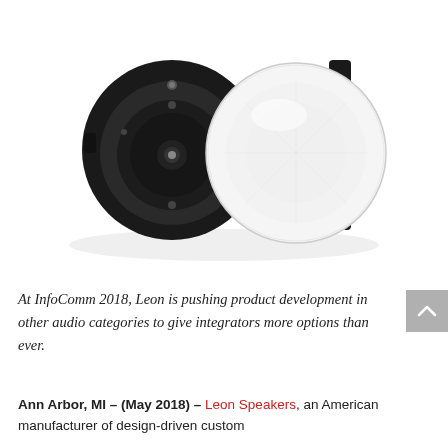[Figure (photo): Product photo of two ceiling-mount speakers: one showing the dark back/driver side and one showing the white circular grille front, photographed on a white background with subtle shadow.]
At InfoComm 2018, Leon is pushing product development in other audio categories to give integrators more options than ever.
Ann Arbor, MI – (May 2018) – Leon Speakers, an American manufacturer of design-driven custom